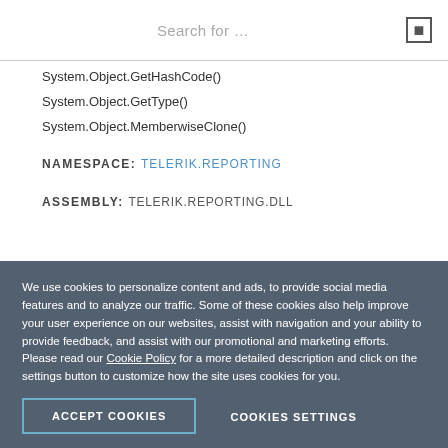Search for …
System.Object.GetHashCode()
System.Object.GetType()
System.Object.MemberwiseClone()
NAMESPACE: TELERIK.REPORTING
ASSEMBLY: TELERIK.REPORTING.DLL
We use cookies to personalize content and ads, to provide social media features and to analyze our traffic. Some of these cookies also help improve your user experience on our websites, assist with navigation and your ability to provide feedback, and assist with our promotional and marketing efforts. Please read our Cookie Policy for a more detailed description and click on the settings button to customize how the site uses cookies for you.
ACCEPT COOKIES
COOKIES SETTINGS